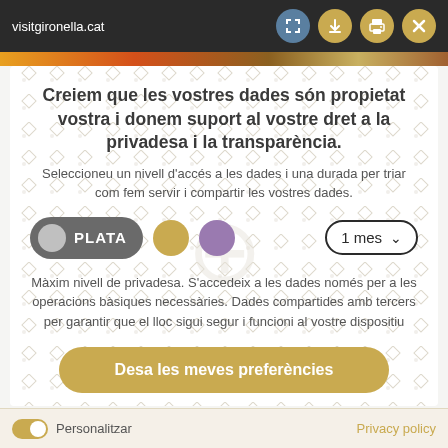visitgironella.cat
[Figure (screenshot): Colorful food image strip at top of page]
Creiem que les vostres dades són propietat vostra i donem suport al vostre dret a la privadesa i la transparència.
Seleccioneu un nivell d'accés a les dades i una durada per triar com fem servir i compartir les vostres dades.
[Figure (infographic): Privacy tier selector showing PLATA (silver) selected button, gold circle, purple circle, and 1 mes duration dropdown]
Màxim nivell de privadesa. S'accedeix a les dades només per a les operacions bàsiques necessàries. Dades compartides amb tercers per garantir que el lloc sigui segur i funcioni al vostre dispositiu
Desa les meves preferències
Personalitzar   Privacy policy